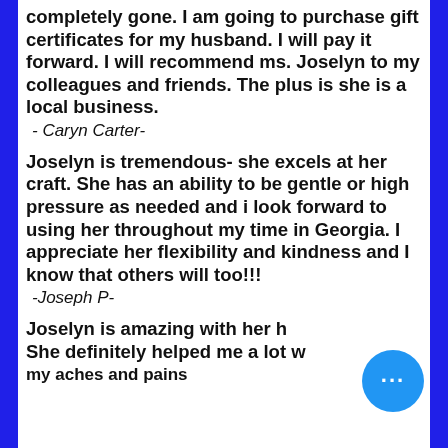completely gone. I am going to purchase gift certificates for my husband. I will pay it forward. I will recommend ms. Joselyn to my colleagues and friends. The plus is she is a local business.
- Caryn Carter-
Joselyn is tremendous- she excels at her craft. She has an ability to be gentle or high pressure as needed and i look forward to using her throughout my time in Georgia. I appreciate her flexibility and kindness and I know that others will too!!!
-Joseph P-
Joselyn is amazing with her h... She definitely helped me a lot with my aches and pains...